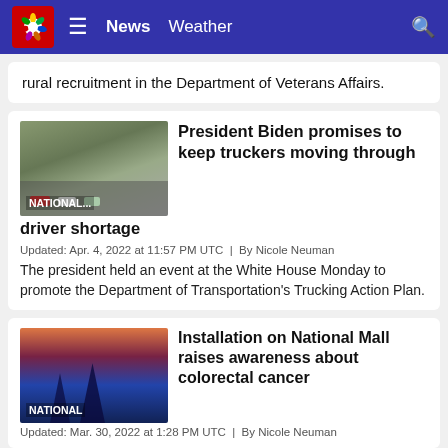News  Weather
rural recruitment in the Department of Veterans Affairs.
President Biden promises to keep truckers moving through driver shortage
Updated: Apr. 4, 2022 at 11:57 PM UTC  |  By Nicole Neuman
The president held an event at the White House Monday to promote the Department of Transportation's Trucking Action Plan.
Installation on National Mall raises awareness about colorectal cancer
Updated: Mar. 30, 2022 at 1:28 PM UTC  |  By Nicole Neuman